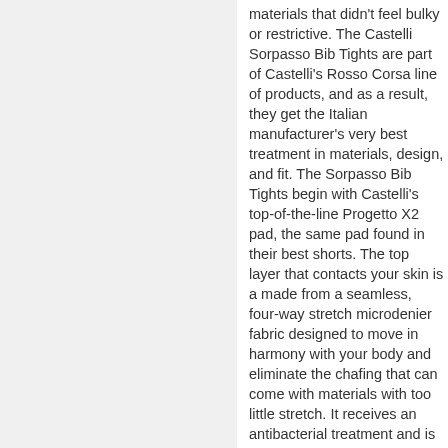materials that didn't feel bulky or restrictive. The Castelli Sorpasso Bib Tights are part of Castelli's Rosso Corsa line of products, and as a result, they get the Italian manufacturer's very best treatment in materials, design, and fit. The Sorpasso Bib Tights begin with Castelli's top-of-the-line Progetto X2 pad, the same pad found in their best shorts. The top layer that contacts your skin is a made from a seamless, four-way stretch microdenier fabric designed to move in harmony with your body and eliminate the chafing that can come with materials with too little stretch. It receives an antibacterial treatment and is bonded to a variable thickness pad made from multiple density foams; the result is a smoothly contoured pad that places the firmest foam where support is most needed. Perforated inserts help to relieve pressure on the sit bones and perineum -- just where riders experience the greatest pressure. The front of the tights are cut from